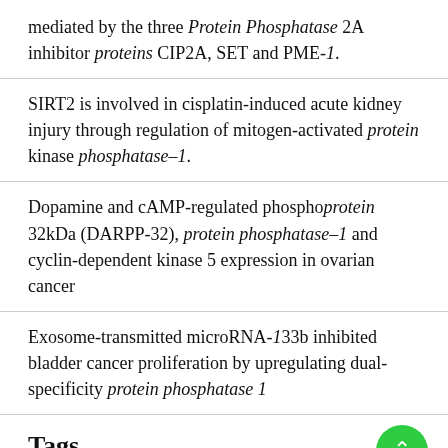mediated by the three Protein Phosphatase 2A inhibitor proteins CIP2A, SET and PME-1.
SIRT2 is involved in cisplatin-induced acute kidney injury through regulation of mitogen-activated protein kinase phosphatase–1.
Dopamine and cAMP-regulated phosphoprotein 32kDa (DARPP-32), protein phosphatase–1 and cyclin-dependent kinase 5 expression in ovarian cancer
Exosome-transmitted microRNA-133b inhibited bladder cancer proliferation by upregulating dual-specificity protein phosphatase 1
Tags